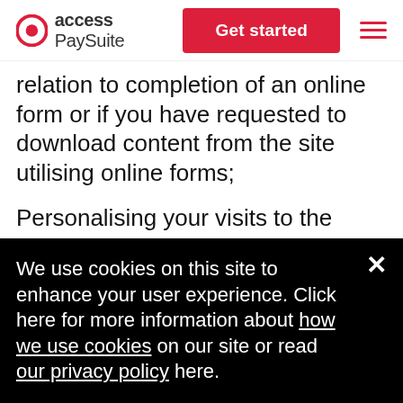access PaySuite | Get started
relation to completion of an online form or if you have requested to download content from the site utilising online forms;
Personalising your visits to the website anonymously and developing the design and style of the website to improve the services
We use cookies on this site to enhance your user experience. Click here for more information about how we use cookies on our site or read our privacy policy here.